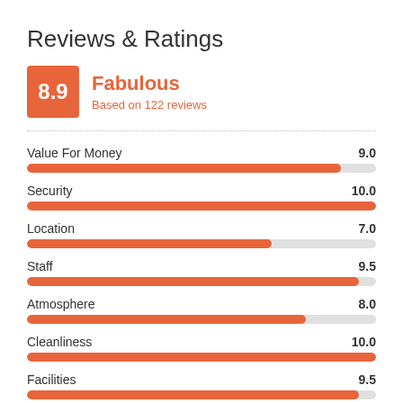Reviews & Ratings
[Figure (infographic): Score box showing 8.9 rating labeled Fabulous, based on 122 reviews]
[Figure (bar-chart): Category Ratings]